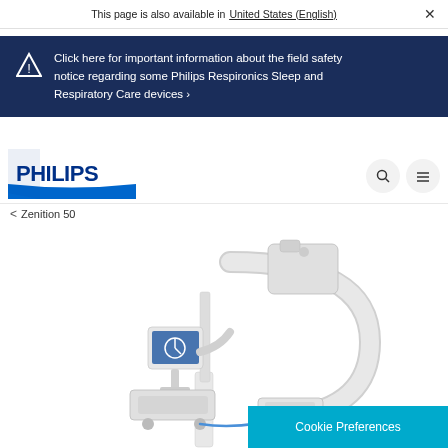This page is also available in United States (English)
Click here for important information about the field safety notice regarding some Philips Respironics Sleep and Respiratory Care devices ›
[Figure (logo): Philips logo - blue shield with PHILIPS text in blue]
‹ Zenition 50
[Figure (photo): Philips Zenition 50 mobile C-arm X-ray machine in white, showing the C-arm structure with X-ray tube and detector, plus a monitor on a stand. White background product photo.]
Cookie Preferences